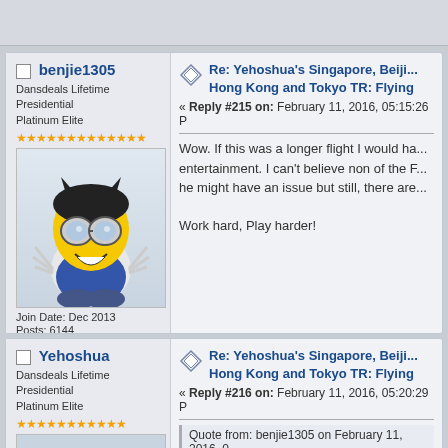top bar area
benjie1305 - Dansdeals Lifetime Presidential Platinum Elite
Join Date: Dec 2013, Posts: 6144, Total likes: 15, DansDeals.com Hat Tips 15, Gender: male, Location: NY Area
Re: Yehoshua's Singapore, Beijing, Hong Kong and Tokyo TR: Flying
« Reply #215 on: February 11, 2016, 05:15:26 P
Wow. If this was a longer flight I would ha... entertainment. I can't believe non of the F... he might have an issue but still, there are...
Work hard, Play harder!
Yehoshua - Dansdeals Lifetime Presidential Platinum Elite
Re: Yehoshua's Singapore, Beijing, Hong Kong and Tokyo TR: Flying
« Reply #216 on: February 11, 2016, 05:20:29 P
Quote from: benjie1305 on February 11, 2016, 0